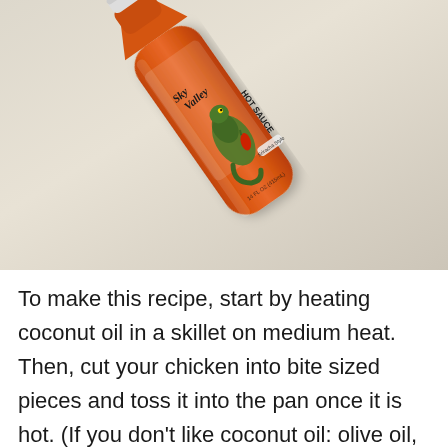[Figure (photo): A bottle of Sky Valley Hot Sauce (Sriracha style, with a green dragon/lizard illustration on the label) lying diagonally on a light beige/cream surface. The bottle is orange-red, with a black cap and white squeeze top. The label reads 'Sky Valley HOT SAUCE' with a green dragon and red chili pepper illustration.]
To make this recipe, start by heating coconut oil in a skillet on medium heat. Then, cut your chicken into bite sized pieces and toss it into the pan once it is hot. (If you don't like coconut oil: olive oil, sesame oil, or whatever your